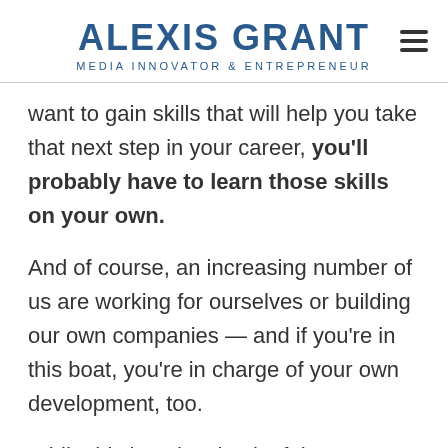ALEXIS GRANT — MEDIA INNOVATOR & ENTREPRENEUR
want to gain skills that will help you take that next step in your career, you'll probably have to learn those skills on your own.
And of course, an increasing number of us are working for ourselves or building our own companies — and if you're in this boat, you're in charge of your own development, too.
While this is a drawback of the new economy in